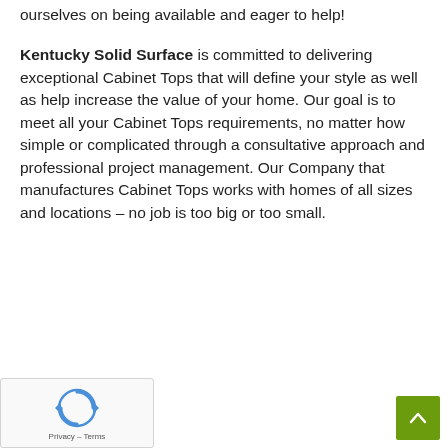ourselves on being available and eager to help!
Kentucky Solid Surface is committed to delivering exceptional Cabinet Tops that will define your style as well as help increase the value of your home. Our goal is to meet all your Cabinet Tops requirements, no matter how simple or complicated through a consultative approach and professional project management. Our Company that manufactures Cabinet Tops works with homes of all sizes and locations – no job is too big or too small.
[Figure (other): reCAPTCHA widget with spinning arrow icon and Privacy/Terms links]
[Figure (other): Olive green scroll-to-top button with upward chevron arrow]